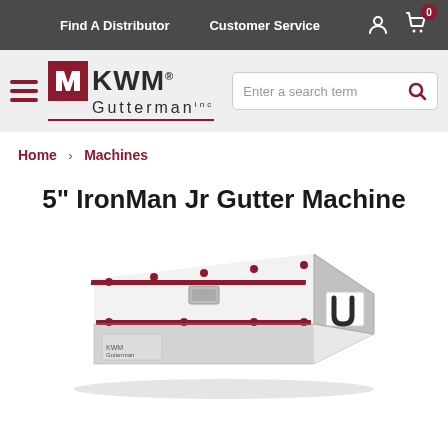Find A Distributor   Customer Service
[Figure (logo): KWM Gutterman Inc. logo with red square icon]
Enter a search term
Home > Machines
5" IronMan Jr Gutter Machine
[Figure (photo): 3D rendering of the 5 inch IronMan Jr Gutter Machine, a silver rectangular metal machine with red accents and the KWM logo on the end face]